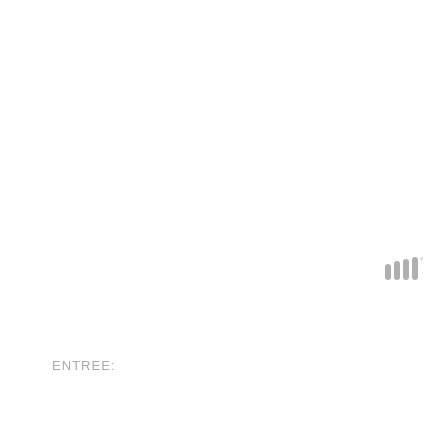[Figure (logo): Small gray logo mark consisting of four vertical bars with a small superscript degree symbol, positioned in the upper-right area of the page]
ENTREE: